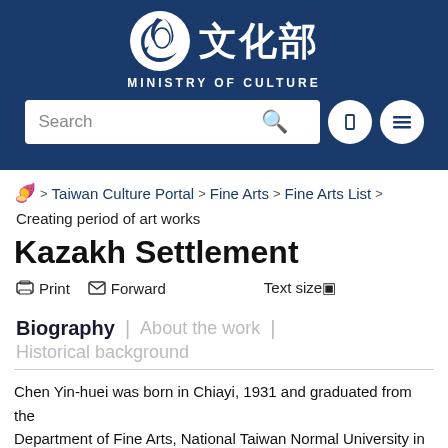[Figure (logo): Taiwan Ministry of Culture logo with Chinese characters 文化部 and text MINISTRY OF CULTURE, with search bar, language button, and menu button on a dark navy background]
Taiwan Culture Portal > Fine Arts > Fine Arts List >
Creating period of art works
Kazakh Settlement
Print  Forward  Text size▣
Biography | About the work | Historical background
Chen Yin-huei was born in Chiayi, 1931 and graduated from the Department of Fine Arts, National Taiwan Normal University in